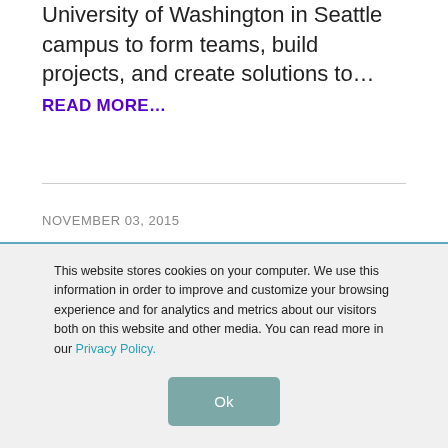University of Washington in Seattle campus to form teams, build projects, and create solutions to…
READ MORE…
NOVEMBER 03, 2015
This website stores cookies on your computer. We use this information in order to improve and customize your browsing experience and for analytics and metrics about our visitors both on this website and other media. You can read more in our Privacy Policy.
Ok